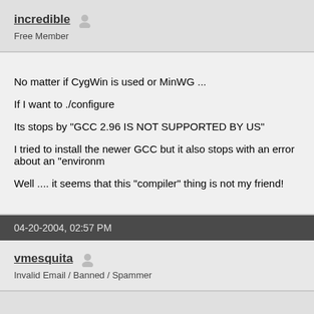incredible  Free Member
No matter if CygWin is used or MinWG ...

If I want to ./configure

Its stops by "GCC 2.96 IS NOT SUPPORTED BY US"

I tried to install the newer GCC but it also stops with an error about an "environm

Well .... it seems that this "compiler" thing is not my friend!
04-20-2004, 02:57 PM
vmesquita  Invalid Email / Banned / Spammer